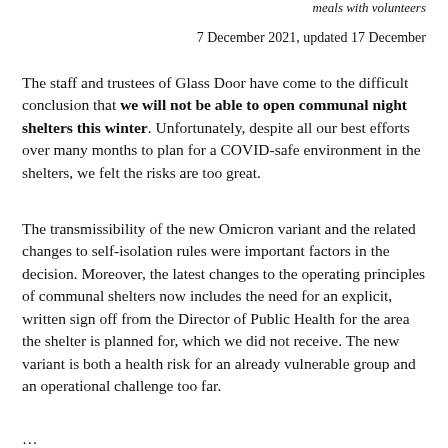meals with volunteers
7 December 2021, updated 17 December
The staff and trustees of Glass Door have come to the difficult conclusion that we will not be able to open communal night shelters this winter. Unfortunately, despite all our best efforts over many months to plan for a COVID-safe environment in the shelters, we felt the risks are too great.
The transmissibility of the new Omicron variant and the related changes to self-isolation rules were important factors in the decision. Moreover, the latest changes to the operating principles of communal shelters now includes the need for an explicit, written sign off from the Director of Public Health for the area the shelter is planned for, which we did not receive. The new variant is both a health risk for an already vulnerable group and an operational challenge too far.